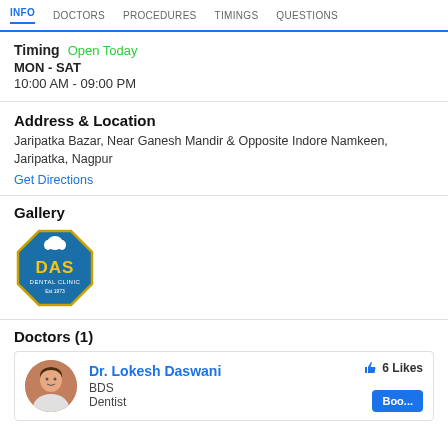INFO | DOCTORS | PROCEDURES | TIMINGS | QUESTIONS
Timing  Open Today
MON - SAT
10:00 AM - 09:00 PM
Address & Location
Jaripatka Bazar, Near Ganesh Mandir & Opposite Indore Namkeen, Jaripatka, Nagpur
Get Directions
Gallery
[Figure (logo): DAS Dental Clinic logo - blue octagon with tooth symbol and yellow DAS lettering, Est 1973]
Doctors (1)
Dr. Lokesh Daswani
BDS
Dentist
6 Likes